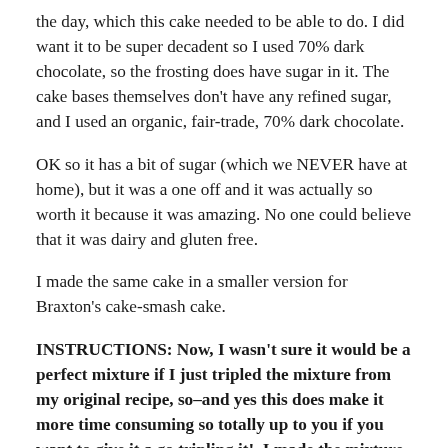the day, which this cake needed to be able to do. I did want it to be super decadent so I used 70% dark chocolate, so the frosting does have sugar in it. The cake bases themselves don't have any refined sugar, and I used an organic, fair-trade, 70% dark chocolate.
OK so it has a bit of sugar (which we NEVER have at home), but it was a one off and it was actually so worth it because it was amazing. No one could believe that it was dairy and gluten free.
I made the same cake in a smaller version for Braxton's cake-smash cake.
INSTRUCTIONS: Now, I wasn't sure it would be a perfect mixture if I just tripled the mixture from my original recipe, so–and yes this does make it more time consuming so totally up to you if you want to give it a go tripling it!–I made the mixture 3 separate times. So